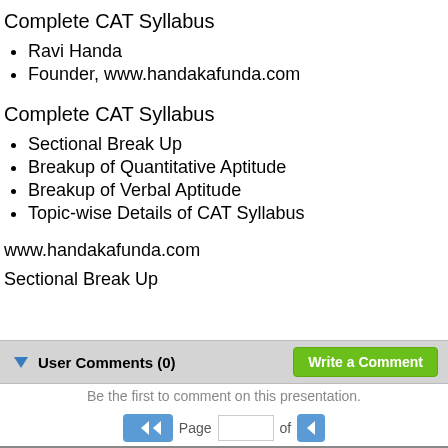Complete CAT Syllabus
Ravi Handa
Founder, www.handakafunda.com
Complete CAT Syllabus
Sectional Break Up
Breakup of Quantitative Aptitude
Breakup of Verbal Aptitude
Topic-wise Details of CAT Syllabus
www.handakafunda.com
Sectional Break Up
User Comments (0)
Be the first to comment on this presentation.
Page of